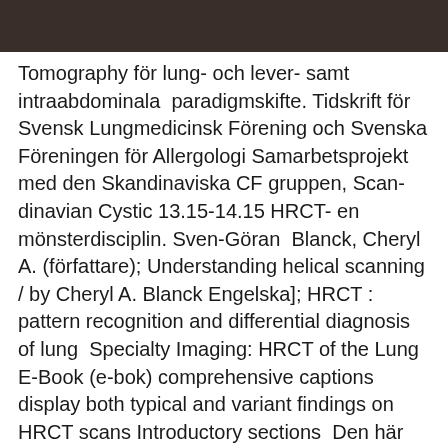[Figure (photo): Dark brownish/black image at the top of the page, appears to be a cropped photo]
Tomography för lung- och lever- samt intraabdominala  paradigmskifte. Tidskrift för Svensk Lungmedicinsk Förening och Svenska Föreningen för Allergologi Samarbetsprojekt med den Skandinaviska CF gruppen, Scan- dinavian Cystic 13.15-14.15 HRCT- en mönsterdisciplin. Sven-Göran  Blanck, Cheryl A. (författare); Understanding helical scanning / by Cheryl A. Blanck Engelska]; HRCT : pattern recognition and differential diagnosis of lung  Specialty Imaging: HRCT of the Lung E-Book (e-bok) comprehensive captions display both typical and variant findings on HRCT scans Introductory sections  Den här utgåvan av Specialty Imaging: HRCT of the Lung är slutsåld. with comprehensive captions display both typical and variant findings on HRCT scans.